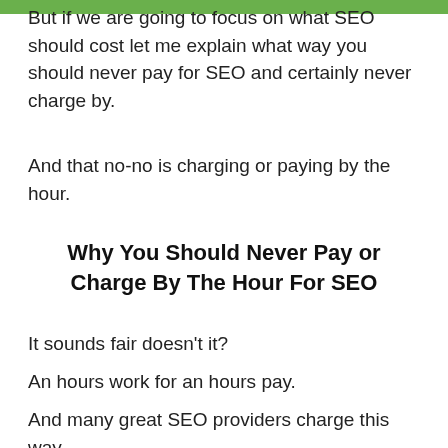But if we are going to focus on what SEO should cost let me explain what way you should never pay for SEO and certainly never charge by.
And that no-no is charging or paying by the hour.
Why You Should Never Pay or Charge By The Hour For SEO
It sounds fair doesn't it?
An hours work for an hours pay.
And many great SEO providers charge this way.